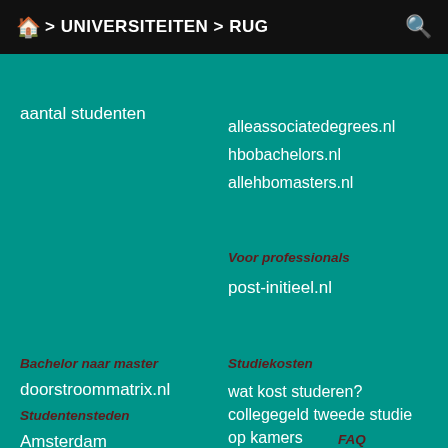🏠 > UNIVERSITEITEN > RUG
aantal studenten
alleassociatedegrees.nl
hbobachelors.nl
allehbomasters.nl
Voor professionals
post-initieel.nl
Bachelor naar master
Studiekosten
doorstroommatrix.nl
wat kost studeren?
collegegeld tweede studie
op kamers
Studentensteden
Amsterdam
FAQ